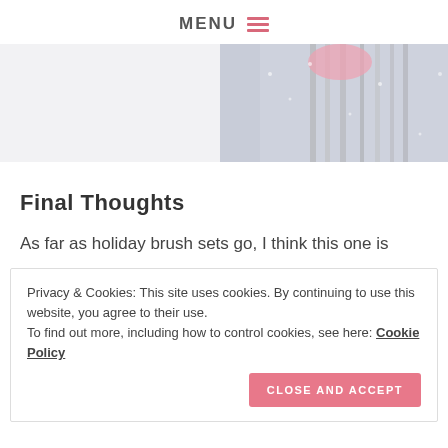MENU
[Figure (photo): Partial view of glittery silver makeup brushes and a pink item on a white surface, cropped hero image at top of blog post.]
Final Thoughts
As far as holiday brush sets go, I think this one is
Privacy & Cookies: This site uses cookies. By continuing to use this website, you agree to their use. To find out more, including how to control cookies, see here: Cookie Policy
CLOSE AND ACCEPT